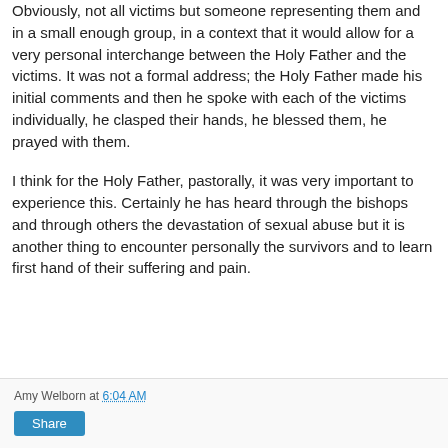Obviously, not all victims but someone representing them and in a small enough group, in a context that it would allow for a very personal interchange between the Holy Father and the victims. It was not a formal address; the Holy Father made his initial comments and then he spoke with each of the victims individually, he clasped their hands, he blessed them, he prayed with them.
I think for the Holy Father, pastorally, it was very important to experience this. Certainly he has heard through the bishops and through others the devastation of sexual abuse but it is another thing to encounter personally the survivors and to learn first hand of their suffering and pain.
Amy Welborn at 6:04 AM
Share